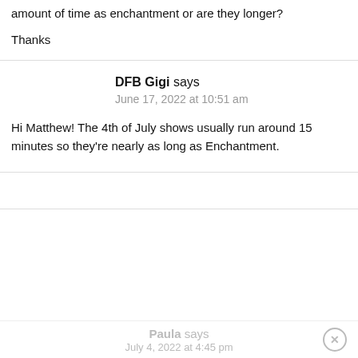amount of time as enchantment or are they longer?
Thanks
DFB Gigi says
June 17, 2022 at 10:51 am
Hi Matthew! The 4th of July shows usually run around 15 minutes so they're nearly as long as Enchantment.
Paula says
July 4, 2022 at 4:45 pm